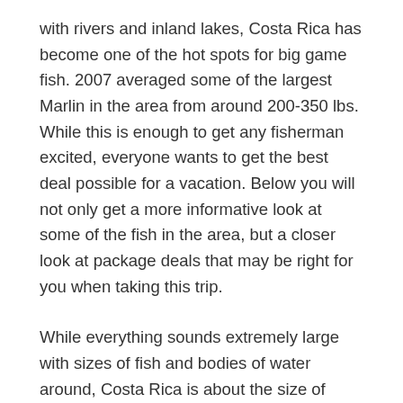with rivers and inland lakes, Costa Rica has become one of the hot spots for big game fish. 2007 averaged some of the largest Marlin in the area from around 200-350 lbs. While this is enough to get any fisherman excited, everyone wants to get the best deal possible for a vacation. Below you will not only get a more informative look at some of the fish in the area, but a closer look at package deals that may be right for you when taking this trip.
While everything sounds extremely large with sizes of fish and bodies of water around, Costa Rica is about the size of West Virginia. If you are intrigued by Costa Rica sports fishing you should be. One of the best aspects of this location is that you can have a variety of different fishing trips all in one. Doesn't matter if it's bass, fly, deep sea, or even kayak fishing – there is an area for each